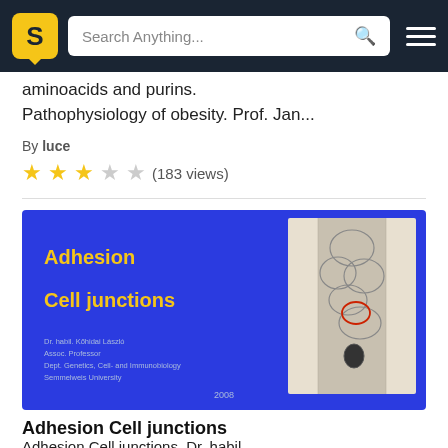[Figure (screenshot): Navigation bar with Slideshare-style logo (yellow S on dark background), search bar reading 'Search Anything...', and hamburger menu icon, all on dark navy background]
aminoacids and purins.
Pathophysiology of obesity. Prof. Jan...
By luce
★★★☆☆ (183 views)
[Figure (screenshot): Presentation slide thumbnail with blue background, yellow bold text 'Adhesion' and 'Cell junctions', author info 'Dr. habil. Kőhidai László, Assoc. Professor, Dept. Genetics, Cell- and Immunobiology, Semmelweis University', year 2008, and a microscopy image of cell structures on the right side]
Adhesion Cell junctions
Adhesion Cell junctions. Dr. habil.